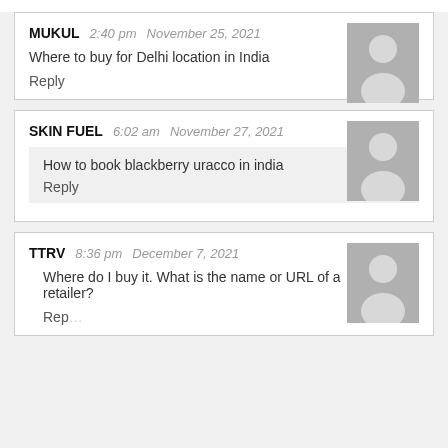MUKUL   2:40 pm   November 25, 2021
Where to buy for Delhi location in India
Reply
SKIN FUEL   6:02 am   November 27, 2021
How to book blackberry uracco in india
Reply
TTRV   8:36 pm   December 7, 2021
Where do I buy it. What is the name or URL of a retailer?
Reply